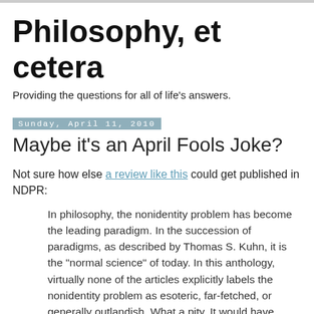Philosophy, et cetera
Providing the questions for all of life's answers.
Sunday, April 11, 2010
Maybe it's an April Fools Joke?
Not sure how else a review like this could get published in NDPR:
In philosophy, the nonidentity problem has become the leading paradigm. In the succession of paradigms, as described by Thomas S. Kuhn, it is the "normal science" of today. In this anthology, virtually none of the articles explicitly labels the nonidentity problem as esoteric, far-fetched, or generally outlandish. What a pity. It would have benefited from such a radically sceptical view.